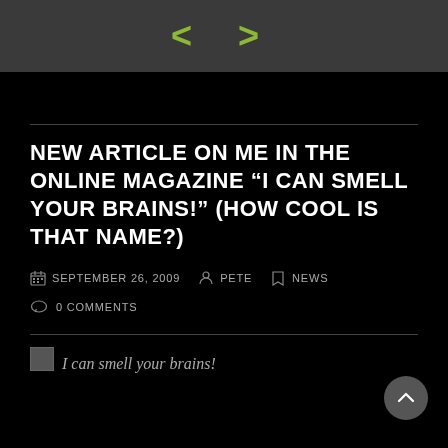[Figure (logo): Dark gray header bar with green angle bracket code logo < >]
NEW ARTICLE ON ME IN THE ONLINE MAGAZINE “I CAN SMELL YOUR BRAINS!” (HOW COOL IS THAT NAME?)
SEPTEMBER 26, 2009  PETE  NEWS  0 COMMENTS
[Figure (photo): Broken image placeholder with alt text: I can smell your brains!]